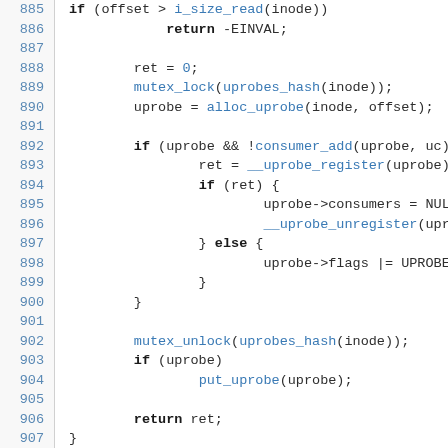Source code listing, lines 885-907, C kernel code for uprobe register function